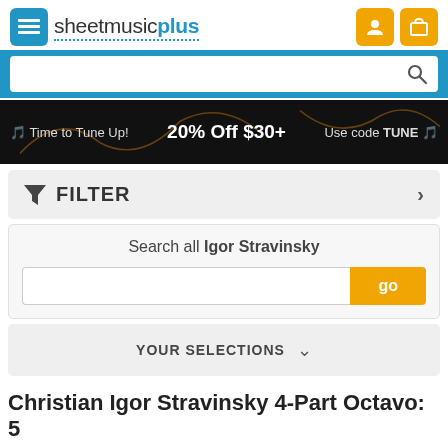sheetmusicplus — navigation header with menu, user, and cart icons
[Figure (screenshot): Search bar with blue background and magnifying glass icon]
[Figure (infographic): Promo banner: Time to Tune Up! 20% Off $30+ Use code TUNE]
FILTER >
Search all Igor Stravinsky
YOUR SELECTIONS
Christian Igor Stravinsky 4-Part Octavo: 5